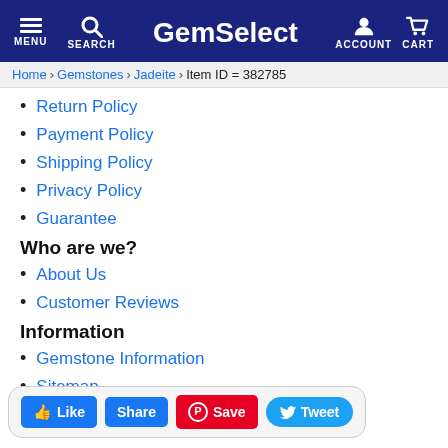GemSelect | MENU | SEARCH | ACCOUNT | CART
Home › Gemstones › Jadeite › Item ID = 382785
Return Policy
Payment Policy
Shipping Policy
Privacy Policy
Guarantee
Who are we?
About Us
Customer Reviews
Information
Gemstone Information
Sitemap
Like | Share | Save | Tweet